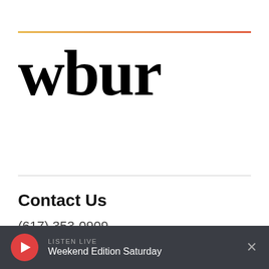[Figure (logo): WBUR radio station logo — bold serif lowercase text 'wbur' with a gradient line above in yellow-orange to red]
Contact Us
(617) 353-0909
info@wbur.org
LISTEN LIVE Weekend Edition Saturday